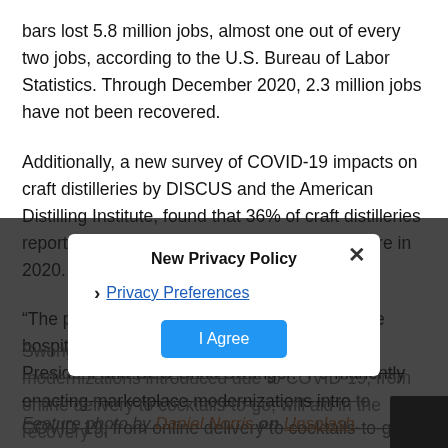bars lost 5.8 million jobs, almost one out of every two jobs, according to the U.S. Bureau of Labor Statistics. Through December 2020, 2.3 million jobs have not been recovered.
Additionally, a new survey of COVID-19 impacts on craft distilleries by DISCUS and the American Distilling Institute, found that 36% of craft distilleries reported a total revenue decline of 25% or more in 2020.
“The pandemic left a wake of destruction in the hospitality industry in 2020,” says DISCUS President and CEO Chris Swonger. “Permanently enacting marketplace modernizations introduced due to COVID-19, from online delivery to cocktails-to-go, will aid in the recovery of restaurants, bars an…
[Figure (screenshot): Privacy policy modal overlay with title 'New Privacy Policy', a 'Privacy Preferences' link with arrow, an 'I Agree' button, and a close (X) button. Dark semi-transparent background over the bottom portion of the page.]
Feature photo by Daniel Norris on Unsplash.